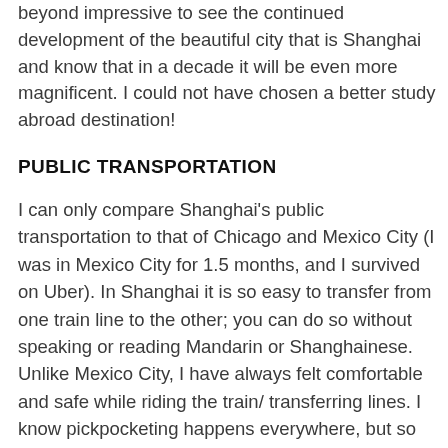beyond impressive to see the continued development of the beautiful city that is Shanghai and know that in a decade it will be even more magnificent. I could not have chosen a better study abroad destination!
PUBLIC TRANSPORTATION
I can only compare Shanghai's public transportation to that of Chicago and Mexico City (I was in Mexico City for 1.5 months, and I survived on Uber). In Shanghai it is so easy to transfer from one train line to the other; you can do so without speaking or reading Mandarin or Shanghainese. Unlike Mexico City, I have always felt comfortable and safe while riding the train/ transferring lines. I know pickpocketing happens everywhere, but so far none from my program's 160 participants have had an incident. In Mexico, 2 of my classmates got